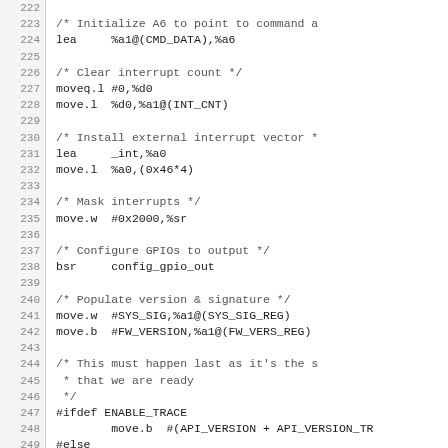[Figure (screenshot): Assembly/C source code listing with line numbers 222-251, showing initialization routines including command area pointer setup, interrupt count clearing, external interrupt vector installation, interrupt masking, GPIO configuration, version and signature population, and conditional API version move instructions.]